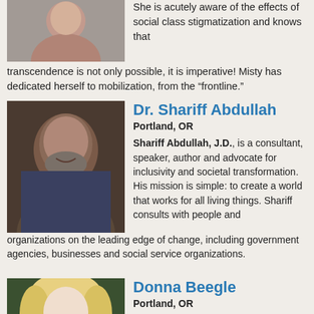[Figure (photo): Portrait photo of a woman (Misty), partially visible at top]
She is acutely aware of the effects of social class stigmatization and knows that transcendence is not only possible, it is imperative! Misty has dedicated herself to mobilization, from the "frontline."
[Figure (photo): Portrait photo of Dr. Shariff Abdullah, a smiling man with a beard]
Dr. Shariff Abdullah
Portland, OR
Shariff Abdullah, J.D., is a consultant, speaker, author and advocate for inclusivity and societal transformation.   His mission is simple: to create a world that works for all living things. Shariff consults with people and organizations on the leading edge of change, including government agencies, businesses and social service organizations.
[Figure (photo): Portrait photo of Donna Beegle, a blonde woman]
Donna Beegle
Portland, OR
Dr. Donna Beegle inspires and educates individuals, organizations, politicians and entire communities with proven models to